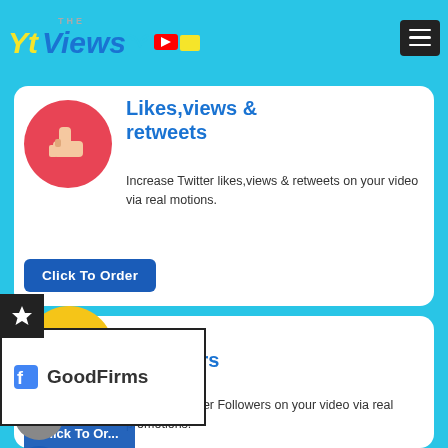THE Yt Views
[Figure (screenshot): Card showing Likes, views & retweets service with red thumbs-up icon, description text, and Click To Order button]
[Figure (screenshot): Card showing Twitter Followers service with yellow/blue follow icon, description text, and Click To Order button]
[Figure (logo): GoodFirms badge/logo overlay on left side]
[Figure (other): Left sidebar with star tab, moon button, and chat button]